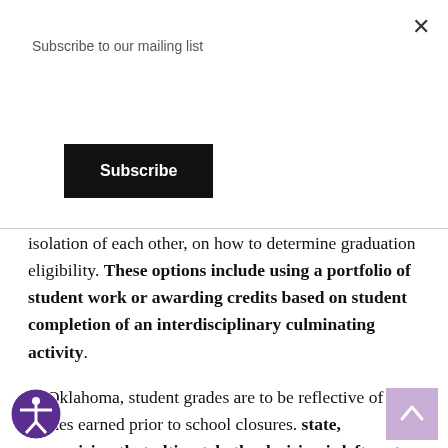Subscribe to our mailing list
Subscribe
isolation of each other, on how to determine graduation eligibility. These options include using a portfolio of student work or awarding credits based on student completion of an interdisciplinary culminating activity.
In Oklahoma, student grades are to be reflective of the grades earned prior to school closures. state, recognizing that ultimately the decision is left up to individual districts,